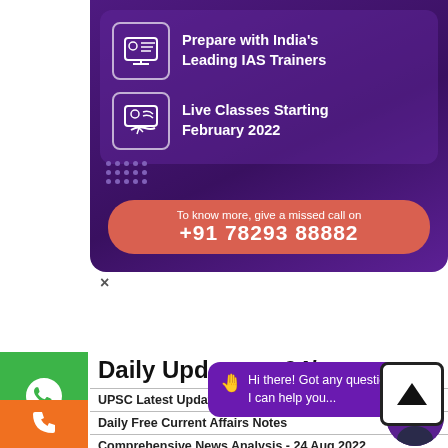[Figure (infographic): IAS training promotional banner with purple background showing two icon rows: 'Prepare with India's Leading IAS Trainers' and 'Live Classes Starting February 2022', with a missed call CTA button showing +91 78293 88882]
×
Daily Updates – 24/...
UPSC Latest Update - One Time Registration
Daily Free Current Affairs Notes
Comprehensive News Analysis - 24 Aug 2022
The Hindu Video Analysis - 24 Aug 2022
PIB - 23 Aug 2022
Topic of the Day – Myanmar Coup d'état 2021
Hi there! Got any questions? I can help you...